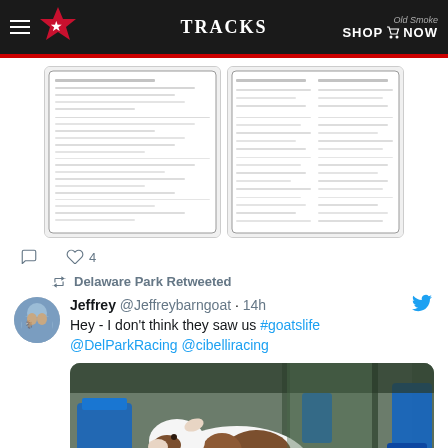TRACKS
[Figure (screenshot): Two blurred racing program document images shown in a tweet]
♡ 4
Delaware Park Retweeted
[Figure (photo): Avatar photo of a goat used as profile picture for @Jeffreybarngoat]
Jeffrey @Jeffreybarngoat · 14h
Hey - I don't think they saw us #goatslife @DelParkRacing @cibelliracing
[Figure (photo): Photo of a goat (brown and white) standing in a horse stable with blue buckets/equipment around it]